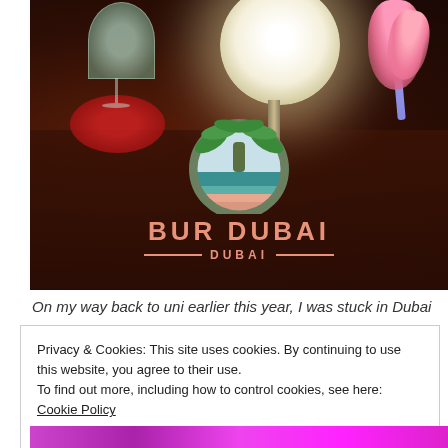[Figure (photo): Photo of a bar/restaurant table with drinks and a glowing lamp. Overlaid is the 'Bur Dubai, Dubai' location logo — a circular icon with palm leaves on top and colorful horizontal bands inside, with pink text reading 'BUR DUBAI' and '— DUBAI —' below.]
On my way back to uni earlier this year, I was stuck in Dubai
Privacy & Cookies: This site uses cookies. By continuing to use this website, you agree to their use.
To find out more, including how to control cookies, see here: Cookie Policy
Close and accept